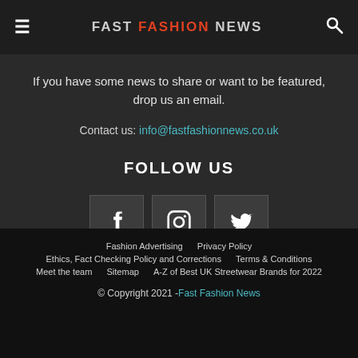FAST FASHION NEWS
If you have some news to share or want to be featured, drop us an email.
Contact us: info@fastfashionnews.co.uk
FOLLOW US
[Figure (infographic): Three social media icon buttons: Facebook (f), Instagram (camera), Twitter (bird)]
Fashion Advertising  Privacy Policy  Ethics, Fact Checking Policy and Corrections  Terms & Conditions  Meet the team  Sitemap  A-Z of Best UK Streetwear Brands for 2022  © Copyright 2021 - Fast Fashion News